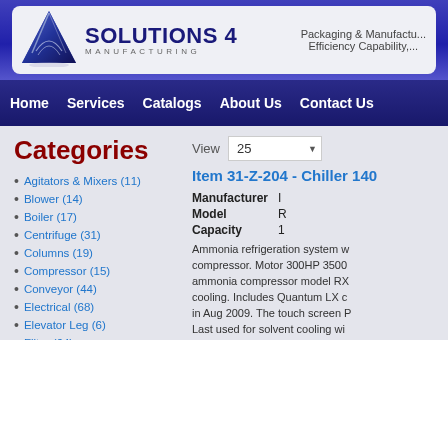[Figure (logo): Solutions 4 Manufacturing logo with blue triangle graphic and text]
Packaging & Manufacturing Efficiency Capability,
Home | Services | Catalogs | About Us | Contact Us
Categories
Agitators & Mixers (11)
Blower (14)
Boiler (17)
Centrifuge (31)
Columns (19)
Compressor (15)
Conveyor (44)
Electrical (68)
Elevator Leg (6)
Filter (64)
View 25
Item 31-Z-204 - Chiller 140
| Field | Value |
| --- | --- |
| Manufacturer | I... |
| Model | R... |
| Capacity | 1... |
Ammonia refrigeration system w... compressor. Motor 300HP 3500... ammonia compressor model RX... cooling. Includes Quantum LX c... in Aug 2009. The touch screen P... Last used for solvent cooling wi... MMBTU/hr of Syngas at a flow...